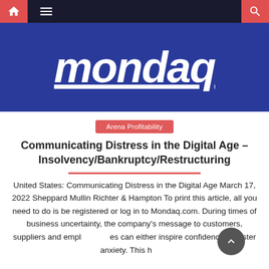[Figure (screenshot): Mondaq website navigation bar with home icon, hamburger menu, and search icon on dark background with red accent buttons]
[Figure (logo): Mondaq logo in white italic bold text on dark blue background]
Arena Profitability
Communicating Distress in the Digital Age – Insolvency/Bankruptcy/Restructuring
United States: Communicating Distress in the Digital Age March 17, 2022 Sheppard Mullin Richter & Hampton To print this article, all you need to do is be registered or log in to Mondaq.com. During times of business uncertainty, the company's message to customers, suppliers and employees can either inspire confidence or foster anxiety. This h...